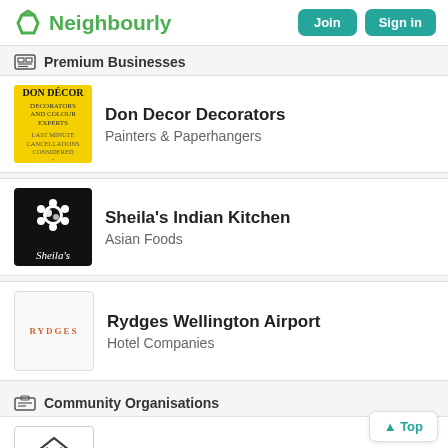Neighbourly — Join | Sign in
Premium Businesses
Don Decor Decorators — Painters & Paperhangers
Sheila's Indian Kitchen — Asian Foods
Rydges Wellington Airport — Hotel Companies
Community Organisations
Wellington After-Care Association Inc. — 111A Brougham Street, Mount Victoria, Wellington
Age Concern Wellington Region — 138 Wakefield Street, Te Aro, Wellington